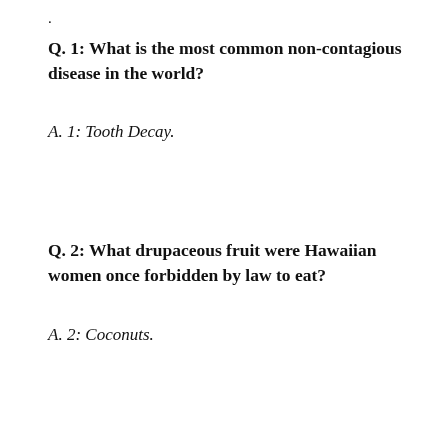.
Q.  1:  What is the most common non-contagious disease in the world?
A.  1:  Tooth Decay.
Q.  2:  What drupaceous fruit were Hawaiian women once forbidden by law to eat?
A.  2:  Coconuts.